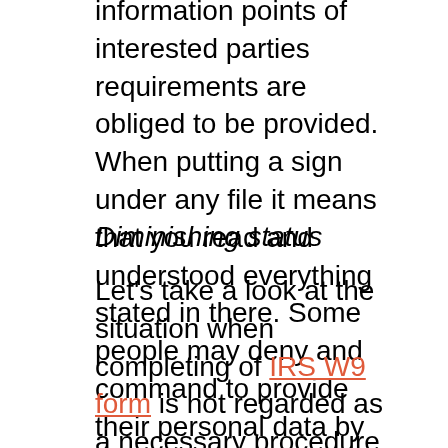information points of interested parties requirements are obliged to be provided. When putting a sign under any file it means that you read and understood everything stated in there. Some people may deny and command to provide their personal data by many reasons – from an attempt to cheat on the taxes to basic misunderstanding why there are being asked to do that.
Diminishing status
Let's take a look at the situation when completing of IRS W9 form is not regarded as a necessary procedure. Many contractors complain that having worked on the same conditions as officially arranged colleagues they are still asked to fill out the documents as a person who has been employed as an independent contractor. Such people should understand that officially employed